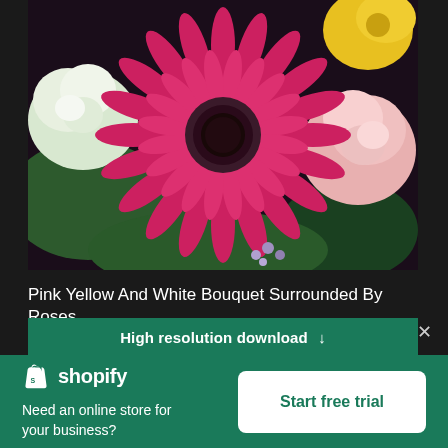[Figure (photo): Close-up photograph of a floral bouquet featuring a large pink/magenta gerbera daisy in the center, surrounded by white roses, pink roses, yellow flowers, green leaves, and small purple flowers.]
Pink Yellow And White Bouquet Surrounded By Roses
High resolution download ↓
[Figure (logo): Shopify logo with shopping bag icon and 'shopify' wordmark in white on green background]
Need an online store for your business?
Start free trial